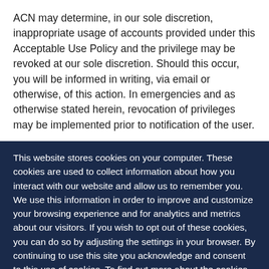ACN may determine, in our sole discretion, inappropriate usage of accounts provided under this Acceptable Use Policy and the privilege may be revoked at our sole discretion. Should this occur, you will be informed in writing, via email or otherwise, of this action. In emergencies and as otherwise stated herein, revocation of privileges may be implemented prior to notification of the user.
This website stores cookies on your computer. These cookies are used to collect information about how you interact with our website and allow us to remember you. We use this information in order to improve and customize your browsing experience and for analytics and metrics about our visitors. If you wish to opt out of these cookies, you can do so by adjusting the settings in your browser. By continuing to use this site you acknowledge and consent to this use of cookies. To find out more about the cookies we use, see our Privacy Policy.